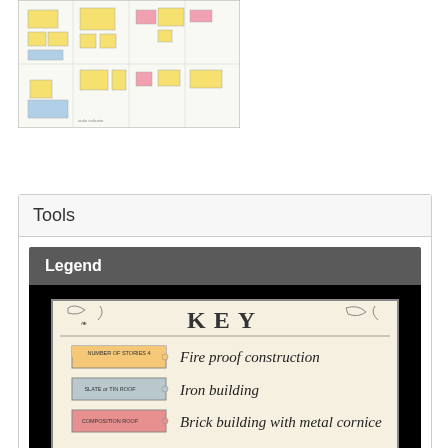[Figure (map): Sanborn fire insurance map excerpt showing city blocks with color-coded buildings (yellow, pink, blue) indicating construction types, with street grid lines.]
Tools
[Figure (infographic): Legend panel with dark header labeled 'Legend' containing a KEY card showing fire insurance map symbols: 'NUMBER OF STORIES 4' swatch for Fire proof construction (yellow-orange), 'SLATE or TIN ROOF' swatch for Iron building (gray), 'COMPOSITION ROOF' swatch for Brick building with metal cornice (pink).]